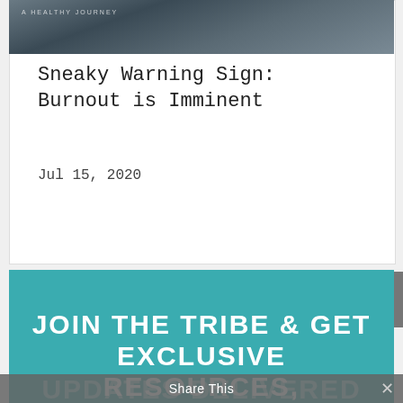[Figure (photo): Dark cloudy sky background image at top of card with label 'A HEALTHY JOURNEY']
Sneaky Warning Sign: Burnout is Imminent
Jul 15, 2020
JOIN THE TRIBE & GET EXCLUSIVE RESOURCES, ANNOUNCEMENTS & UPDATES DELIVERED
Share This